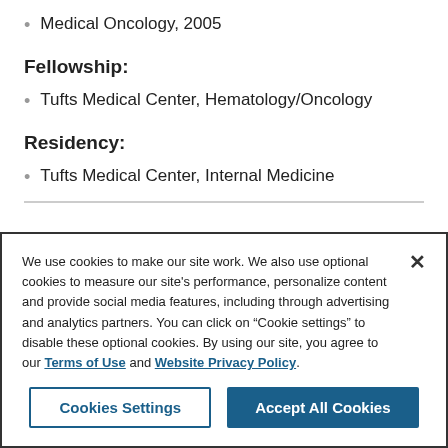Medical Oncology, 2005
Fellowship:
Tufts Medical Center, Hematology/Oncology
Residency:
Tufts Medical Center, Internal Medicine
We use cookies to make our site work. We also use optional cookies to measure our site's performance, personalize content and provide social media features, including through advertising and analytics partners. You can click on “Cookie settings” to disable these optional cookies. By using our site, you agree to our Terms of Use and Website Privacy Policy.